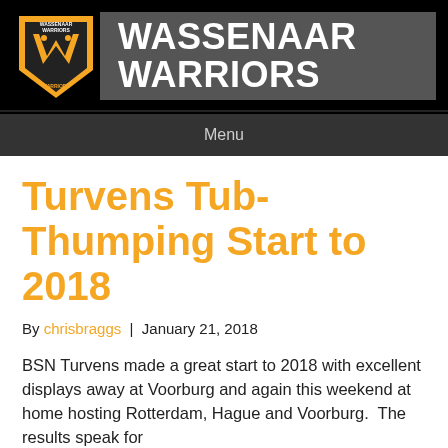[Figure (logo): Wassenaar Warriors shield logo with orange background and stylized W with lightning bolts, alongside gray banner with text WASSENAAR WARRIORS in white bold]
Menu
Turvens Tub-Thumping Start to 2018
By chrisbraggs  |  January 21, 2018
BSN Turvens made a great start to 2018 with excellent displays away at Voorburg and again this weekend at home hosting Rotterdam, Hague and Voorburg.  The results speak for